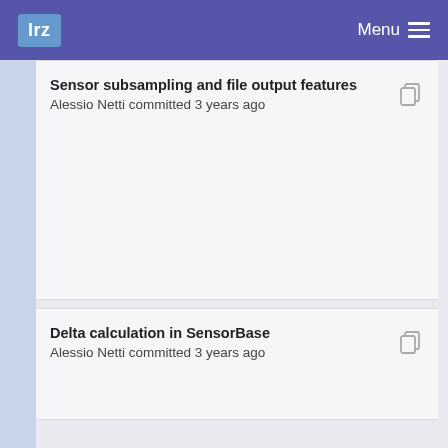lrz   Menu
Sensor subsampling and file output features
Alessio Netti committed 3 years ago
Delta calculation in SensorBase
Alessio Netti committed 3 years ago